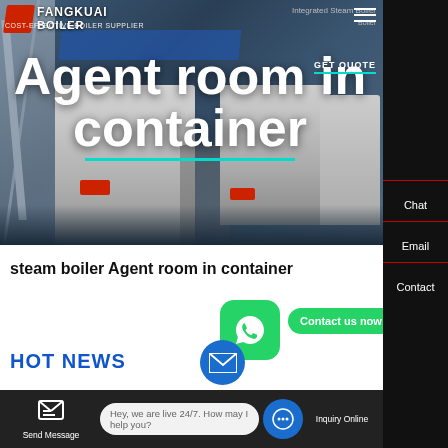[Figure (screenshot): Website screenshot of a steam boiler supplier page showing industrial boiler units in a dark blue setting]
Agent room in container
FANGKUAI BOILER | COST-EFFECTIVE BOILER SUPPLIER
steam boiler Agent room in container
HOT NEWS
Hey, we are live 24/7. How may I help you?
Send Message | Inquiry Online